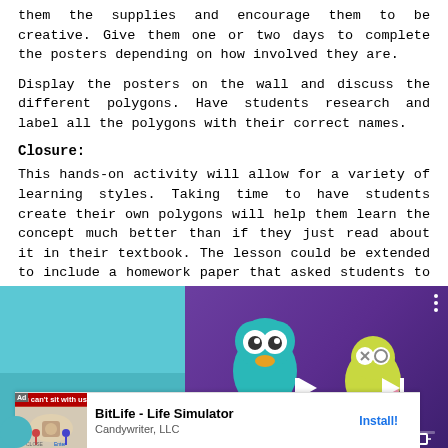them the supplies and encourage them to be creative. Give them one or two days to complete the posters depending on how involved they are.
Display the posters on the wall and discuss the different polygons. Have students research and label all the polygons with their correct names.
Closure:
This hands-on activity will allow for a variety of learning styles. Taking time to have students create their own polygons will help them learn the concept much better than if they just read about it in their textbook. The lesson could be extended to include a homework paper that asked students to draw and label polygons with x amount of sides.
[Figure (screenshot): A video player screenshot showing animated characters (a teal monster and a character with an ice cream) on a purple background. Shows playback controls, a K-12 label, and a BitLife - Life Simulator ad overlay at the bottom from Candywriter, LLC with an Install button.]